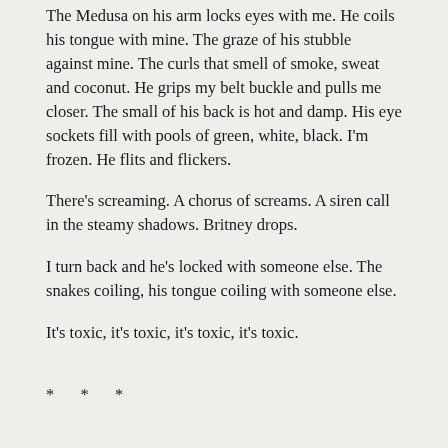The Medusa on his arm locks eyes with me. He coils his tongue with mine. The graze of his stubble against mine. The curls that smell of smoke, sweat and coconut. He grips my belt buckle and pulls me closer. The small of his back is hot and damp. His eye sockets fill with pools of green, white, black. I’m frozen. He flits and flickers.
There’s screaming. A chorus of screams. A siren call in the steamy shadows. Britney drops.
I turn back and he’s locked with someone else. The snakes coiling, his tongue coiling with someone else.
It’s toxic, it’s toxic, it’s toxic, it’s toxic.
* * *
Spinning, turning in the dark. Divided, horrifying and beautiful. The blood out. Spades. More and more and more and